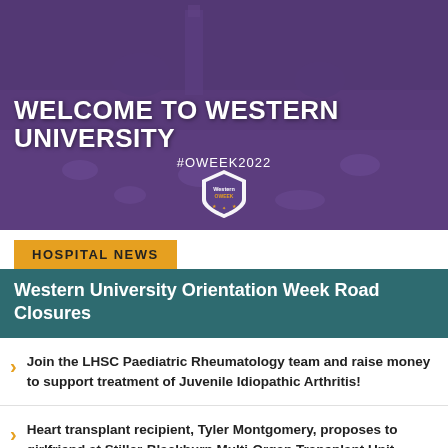[Figure (photo): Western University orientation week photo showing large crowd of students outdoors with a tower building visible in the background, overlaid with purple tint. Text overlay reads WELCOME TO WESTERN UNIVERSITY #OWEEK2022 with a Western OWeek badge logo.]
WELCOME TO WESTERN UNIVERSITY
#OWEEK2022
HOSPITAL NEWS
Western University Orientation Week Road Closures
Join the LHSC Paediatric Rheumatology team and raise money to support treatment of Juvenile Idiopathic Arthritis!
Heart transplant recipient, Tyler Montgomery, proposes to girlfriend at Stiller-Blackburn Multi-Organ Transplant Unit.